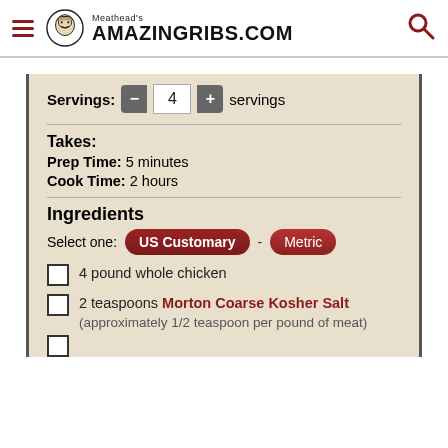Meathead's AmazingRibs.com
Servings: - 4 + servings
Takes:
Prep Time: 5 minutes
Cook Time: 2 hours
Ingredients
Select one: US Customary - Metric
4 pound whole chicken
2 teaspoons Morton Coarse Kosher Salt (approximately 1/2 teaspoon per pound of meat)